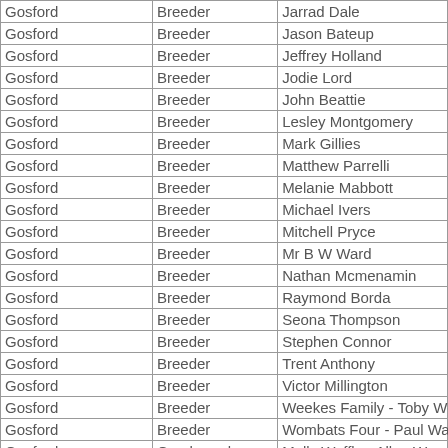| Gosford | Breeder | Jarrad Dale |
| Gosford | Breeder | Jason Bateup |
| Gosford | Breeder | Jeffrey Holland |
| Gosford | Breeder | Jodie Lord |
| Gosford | Breeder | John Beattie |
| Gosford | Breeder | Lesley Montgomery |
| Gosford | Breeder | Mark Gillies |
| Gosford | Breeder | Matthew Parrelli |
| Gosford | Breeder | Melanie Mabbott |
| Gosford | Breeder | Michael Ivers |
| Gosford | Breeder | Mitchell Pryce |
| Gosford | Breeder | Mr B W Ward |
| Gosford | Breeder | Nathan Mcmenamin |
| Gosford | Breeder | Raymond Borda |
| Gosford | Breeder | Seona Thompson |
| Gosford | Breeder | Stephen Connor |
| Gosford | Breeder | Trent Anthony |
| Gosford | Breeder | Victor Millington |
| Gosford | Breeder | Weekes Family - Toby Weekes |
| Gosford | Breeder | Wombats Four - Paul Wagner |
| Gosford | Greyhound | Molly Waffle - Allan Woods O/T |
| Gosford | Trainer | Amanda Brunton |
| Gosford | Trainer | Robert Groizard Jnr |